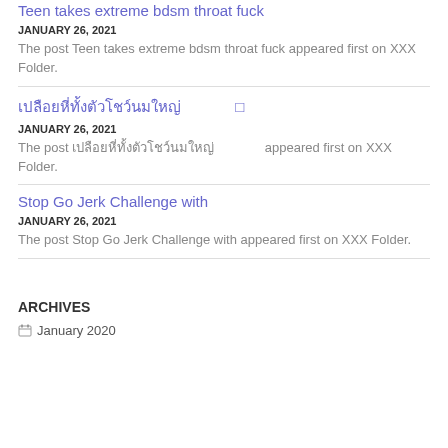Teen takes extreme bdsm throat fuck
JANUARY 26, 2021
The post Teen takes extreme bdsm throat fuck appeared first on XXX Folder.
เปลือยหี่ทั้งตัวโชว์นมใหญ่ □
JANUARY 26, 2021
The post เปลือยหี่ทั้งตัวโชว์นมใหญ่         appeared first on XXX Folder.
Stop Go Jerk Challenge with
JANUARY 26, 2021
The post Stop Go Jerk Challenge with appeared first on XXX Folder.
ARCHIVES
January 2020